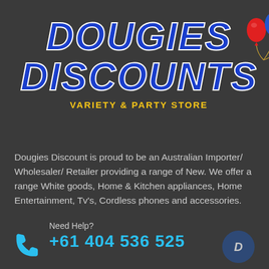[Figure (logo): Dougies Discounts logo with blue italic bold text 'DOUGIES DISCOUNTS', yellow tagline 'VARIETY & PARTY STORE', and three balloons (red, blue, yellow) in top right]
Dougies Discount is proud to be an Australian Importer/ Wholesaler/ Retailer providing a range of New. We offer a range White goods, Home & Kitchen appliances, Home Entertainment, Tv's, Cordless phones and accessories.
Need Help?
+61 404 536 525